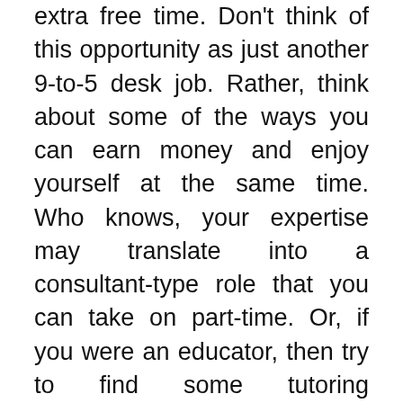extra free time. Don't think of this opportunity as just another 9-to-5 desk job. Rather, think about some of the ways you can earn money and enjoy yourself at the same time. Who knows, your expertise may translate into a consultant-type role that you can take on part-time. Or, if you were an educator, then try to find some tutoring opportunities in your local community. Whatever it may be, there are numerous ways to try and turn one of your hobbies into a business.
In the end, whether you’re in retirement or working toward it, we can help you understand what needs to be on the top of your financial to-do list. It’s never too late to make a positive change and get on the path to